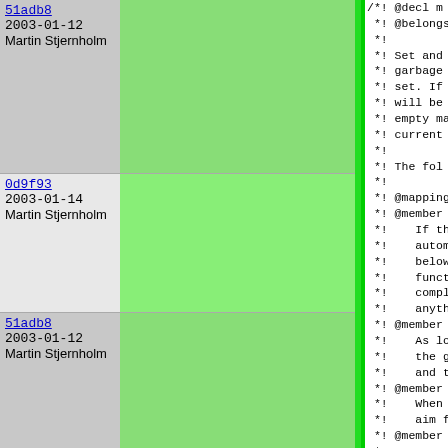| hash | date | author | code |
| --- | --- | --- | --- |
| 51adb8 | 2003-01-12 | Martin Stjernholm | /*! @decl m
 *! @belongs
 *!
 *! Set and
 *! garbage
 *! set. If
 *! will be
 *! empty ma
 *! current
 *!
 *! The fol
 *!
 *! @mapping
 *! @member |
| 0d9f93 | 2003-01-14 | Martin Stjernholm |  *!    If th
 *!    automa
 *!    below
 *!    functi
 *!    comple
 *!    anythi |
| 51adb8 | 2003-01-12 | Martin Stjernholm |  *! @member
 *!    As lo
 *!    the gc
 *!    and th
 *! @member
 *!    When n
 *!    aim fo
 *! @member
 *!    Upper |